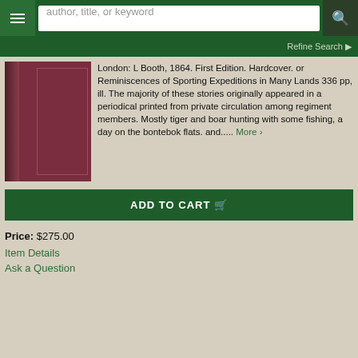author, title, or keyword
Refine Search
[Figure (photo): Red/maroon hardcover book with decorative spine, front cover visible]
London: L Booth, 1864. First Edition. Hardcover. or Reminiscences of Sporting Expeditions in Many Lands 336 pp, ill. The majority of these stories originally appeared in a periodical printed from private circulation among regiment members. Mostly tiger and boar hunting with some fishing, a day on the bontebok flats. and..... More
ADD TO CART
Price: $275.00
Item Details
Ask a Question